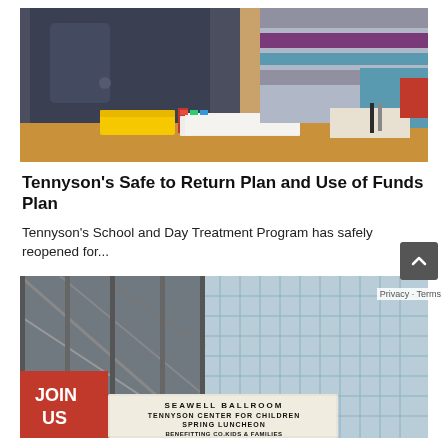[Figure (photo): Children sitting at a table doing schoolwork, with colorful books and pencils visible.]
Tennyson’s Safe to Return Plan and Use of Funds Plan
Tennyson's School and Day Treatment Program has safely reopened for...
[Figure (photo): Exterior of a modern glass building with a sign reading SEAWELL BALLROOM, TENNYSON CENTER FOR CHILDREN, SPRING LUNCHEON, BENEFITTING CO.KIDS & FAMILIES. A red sign on the left reads JOIN US.]